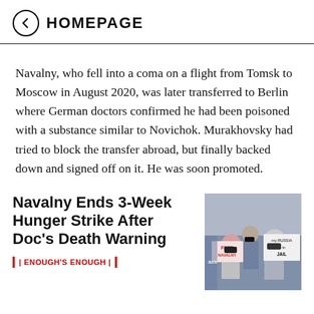HOMEPAGE
Navalny, who fell into a coma on a flight from Tomsk to Moscow in August 2020, was later transferred to Berlin where German doctors confirmed he had been poisoned with a substance similar to Novichok. Murakhovsky had tried to block the transfer abroad, but finally backed down and signed off on it. He was soon promoted.
Navalny Ends 3-Week Hunger Strike After Doc's Death Warning
ENOUGH'S ENOUGH
[Figure (photo): Protesters holding signs reading 'FREE NAVALNY' and 'my RUSSIA is in JAIL', wearing black face masks]